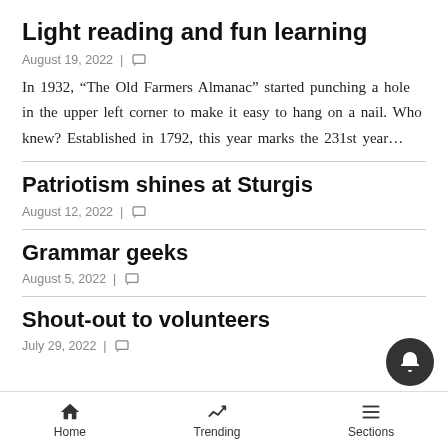Light reading and fun learning
August 19, 2022 |
In 1932, “The Old Farmers Almanac” started punching a hole in the upper left corner to make it easy to hang on a nail. Who knew? Established in 1792, this year marks the 231st year…
Patriotism shines at Sturgis
August 12, 2022 |
Grammar geeks
August 5, 2022 |
Shout-out to volunteers
July 29, 2022 |
Home  Trending  Sections